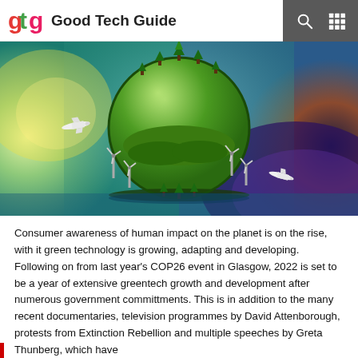gtg Good Tech Guide
[Figure (illustration): A stylized green planet/globe covered in grass and trees with miniature wind turbines around the equator, flying planes, set against a cosmic background blending teal, yellow, and deep space colours.]
Consumer awareness of human impact on the planet is on the rise, with it green technology is growing, adapting and developing. Following on from last year's COP26 event in Glasgow, 2022 is set to be a year of extensive greentech growth and development after numerous government committments. This is in addition to the many recent documentaries, television programmes by David Attenborough, protests from Extinction Rebellion and multiple speeches by Greta Thunberg, which have